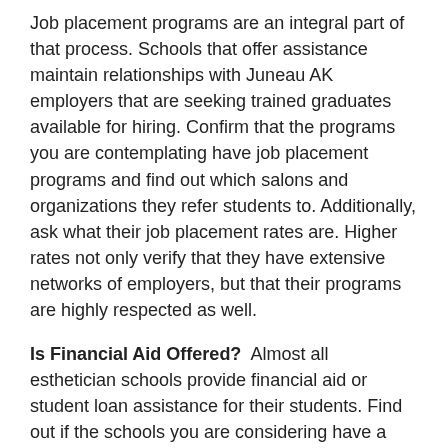Job placement programs are an integral part of that process. Schools that offer assistance maintain relationships with Juneau AK employers that are seeking trained graduates available for hiring. Confirm that the programs you are contemplating have job placement programs and find out which salons and organizations they refer students to. Additionally, ask what their job placement rates are. Higher rates not only verify that they have extensive networks of employers, but that their programs are highly respected as well.
Is Financial Aid Offered?  Almost all esthetician schools provide financial aid or student loan assistance for their students. Find out if the schools you are considering have a financial aid department. Speak with a counselor and find out what student loans or grants you might get approved for. If the school is a member of the American Association of Cosmetology Schools (AACS), it will have scholarships accessible to students also. If a